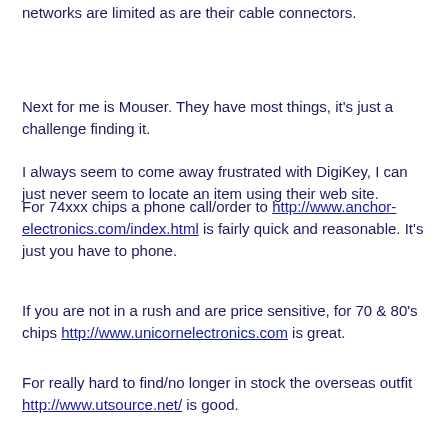networks are limited as are their cable connectors.
Next for me is Mouser. They have most things, it’s just a challenge finding it.
I always seem to come away frustrated with DigiKey, I can just never seem to locate an item using their web site.
For 74xxx chips a phone call/order to http://www.anchor-electronics.com/index.html is fairly quick and reasonable. It’s just you have to phone.
If you are not in a rush and are price sensitive, for 70 & 80’s chips http://www.unicornelectronics.com is great.
For really hard to find/no longer in stock the overseas outfit http://www.utsource.net/ is good.